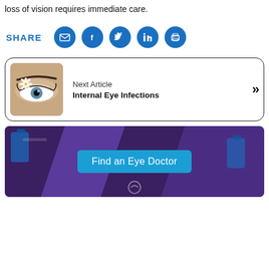...loss of vision requires immediate care.
SHARE
[Figure (infographic): Social share icons: email, Facebook, Twitter, LinkedIn, print — all in blue circles]
[Figure (photo): Next article card with a close-up photo of a woman's eye with a daisy flower, titled 'Internal Eye Infections']
[Figure (infographic): Find an Eye Doctor banner with purple/dark background showing eye care products and a teal 'Find an Eye Doctor' button]